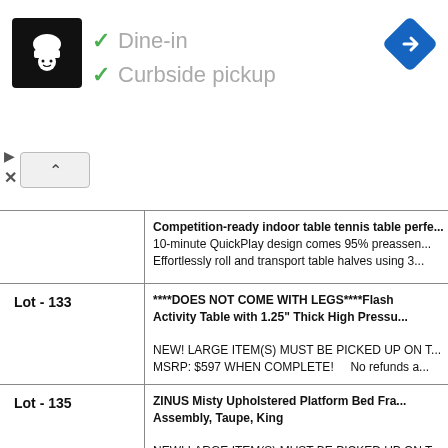[Figure (logo): Chef logo (white chef hat on black background)]
✓ Dine-in
✓ Curbside pickup
[Figure (illustration): Blue navigation diamond icon]
|  | Description |
| --- | --- |
|  | Competition-ready indoor table tennis table perfe... 10-minute QuickPlay design comes 95% preassen... Effortlessly roll and transport table halves using 3... |
| Lot - 133 | ****DOES NOT COME WITH LEGS****Flash Activity Table with 1.25" Thick High Pressu...

NEW! LARGE ITEM(S) MUST BE PICKED UP ON T... MSRP: $597 WHEN COMPLETE!    No refunds a... |
| Lot - 135 | ZINUS Misty Upholstered Platform Bed Fra... Assembly, Taupe, King

NEW! LARGE ITEM(S) MUST BE PICKED UP ON T... MSRP: $393    No refunds after the item has left

TIMELESS ELEGANCE - Give an instant pick-me-u... matching your existing decor is a piece of cake |
| Lot - 137 | Bush Furniture 60" W Straight Desk...

NEW! COMES COMPLETE IN 2 RETAIL BOXES!  L... MOVE OR HOLD IT. NO EXCEPTIONS.  MSRP: $64... |